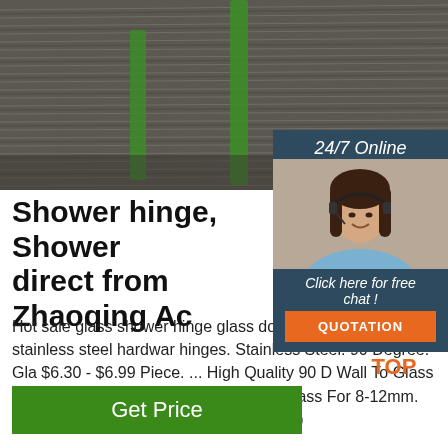[Figure (photo): Bundled metal wire coils with green plastic bands, industrial product photo]
[Figure (infographic): 24/7 Online chat widget with female customer service agent wearing headset, 'Click here for free chat!' text, and QUOTATION button]
Shower hinge, Shower direct from Zhaoqing Ac
Hot sale glass shower hinge glass door h hinge 90 degree stainless steel hardwar hinges. Stainless Steel. 90 Degree. Gla $6.30 - $6.99 Piece. ... High Quality 90 D Wall To Glass Zinc Alloy Glass Hinge Shower Hinge Glass For 8-12mm. $2.80 - $2.99 Piece. 1 Piece (Min. Order)
[Figure (logo): TOP icon with orange dotted arch above orange TOP text]
Get Price